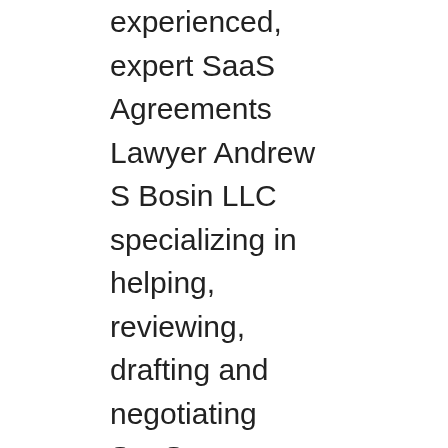experienced, expert SaaS Agreements Lawyer Andrew S Bosin LLC specializing in helping, reviewing, drafting and negotiating SaaS Subscription Agreements, SaaS agreements, SaaS MSA agreements, SaaS EULA Agreements and SaaS Reseller Agreements for Little Rock SaaS vendors, startups, providers, developers, resellers, entrepreneurs and enterprise companies. Find best, top, leading, experienced, expert SaaS Agreements Lawyer Andrew S Bosin LLC specializing in helping, reviewing, drafting and negotiating SaaS Subscription Agreements, SaaS agreements, SaaS MSA agreements, SaaS EULA Agreements and SaaS Reseller Agreements for Birmingham, Alabama SaaS vendors, startups, providers, developers, resellers, entrepreneurs and enterprise companies. Find best, top, leading, experienced, expert SaaS Agreements Lawyer Andrew S Bosin LLC specializing in helping, reviewing, drafting and negotiating SaaS Subscription Agreements, SaaS agreements, SaaS MSA agreements, SaaS EULA Agreements and SaaS Reseller Agreements for Pittsburgh SaaS vendors, startups, providers,